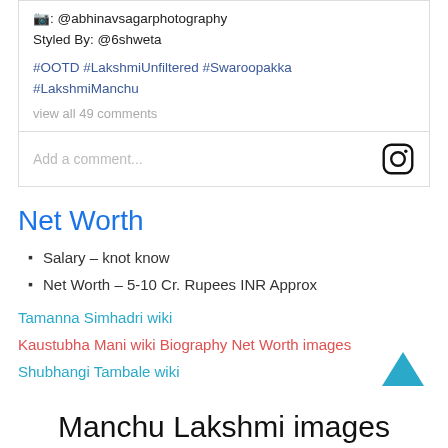📷: @abhinavsagarphotography
Styled By: @6shweta
#OOTD #LakshmiUnfiltered #Swaroopakka #LakshmiManchu
view all 49 comments
Add a comment...
Net Worth
Salary – knot know
Net Worth – 5-10 Cr. Rupees INR Approx
Tamanna Simhadri wiki
Kaustubha Mani wiki Biography Net Worth images
Shubhangi Tambale wiki
Manchu Lakshmi images